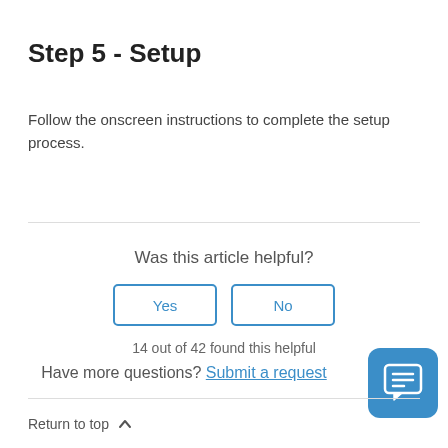Step 5 - Setup
Follow the onscreen instructions to complete the setup process.
Was this article helpful?
14 out of 42 found this helpful
Have more questions? Submit a request
Return to top